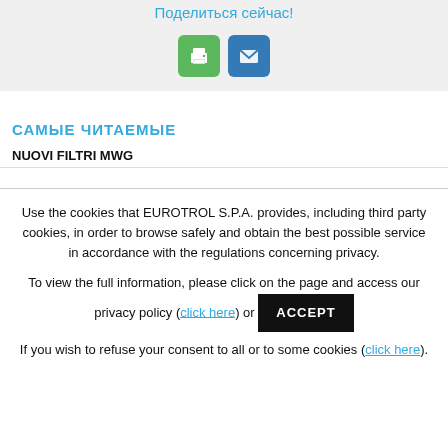Поделиться сейчас!
[Figure (other): Green print button and blue email button]
САМЫЕ ЧИТАЕМЫЕ
NUOVI FILTRI MWG
Use the cookies that EUROTROL S.P.A. provides, including third party cookies, in order to browse safely and obtain the best possible service in accordance with the regulations concerning privacy.
To view the full information, please click on the page and access our privacy policy (click here) or ACCEPT
If you wish to refuse your consent to all or to some cookies (click here).